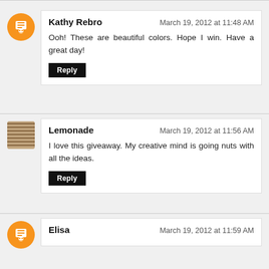Kathy Rebro — March 19, 2012 at 11:48 AM
Ooh! These are beautiful colors. Hope I win. Have a great day!
Lemonade — March 19, 2012 at 11:56 AM
I love this giveaway. My creative mind is going nuts with all the ideas.
Elisa — March 19, 2012 at 11:59 AM
Beautiful beads! Thanks for the opportunity to win them :) I am a blog subscriber.
Anonymous — March 19, 2012 at 12:01 PM